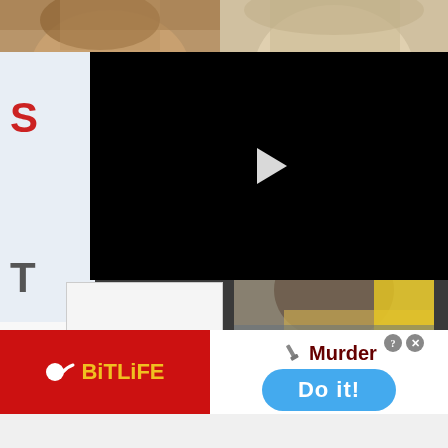[Figure (photo): Top left portion of a person's face/head, cropped thumbnail]
[Figure (photo): Top right portion of a person's face/head with light hair, cropped thumbnail]
[Figure (screenshot): Black video player overlay with white play button triangle in center]
[Figure (photo): Left side panel with partial text reading S and T, and bottom text BURN THE BREAD]
[Figure (photo): Bottom right photo of person with dark hair and yellow element (Louis Vuitton bag)]
[Figure (screenshot): BitLife mobile game advertisement banner - red background with sperm logo and yellow BitLife text on left; right side shows Murder option with Do it! blue button; close X button visible]